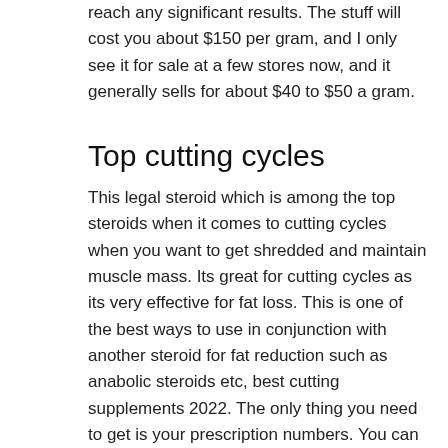reach any significant results. The stuff will cost you about $150 per gram, and I only see it for sale at a few stores now, and it generally sells for about $40 to $50 a gram.
Top cutting cycles
This legal steroid which is among the top steroids when it comes to cutting cycles when you want to get shredded and maintain muscle mass. Its great for cutting cycles as its very effective for fat loss. This is one of the best ways to use in conjunction with another steroid for fat reduction such as anabolic steroids etc, best cutting supplements 2022. The only thing you need to get is your prescription numbers. You can buy the stuff in any pharmacy or doctor's office, best steroid cycle for lean muscle gain. There is even a brand name called Sustiva, top cutting cycles.